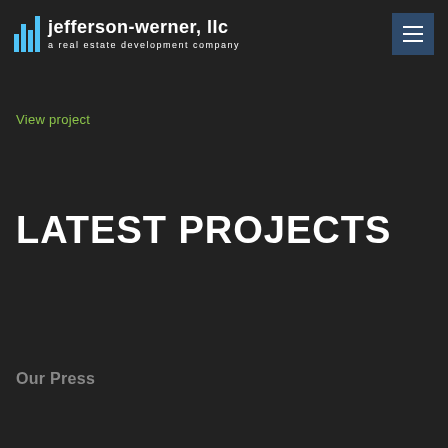jefferson-werner, llc — a real estate development company
View project
LATEST PROJECTS
Our Press